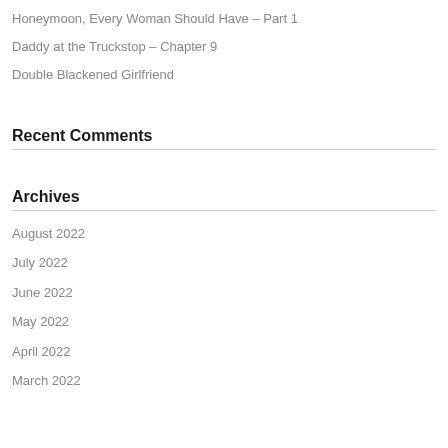Honeymoon, Every Woman Should Have – Part 1
Daddy at the Truckstop – Chapter 9
Double Blackened Girlfriend
Recent Comments
Archives
August 2022
July 2022
June 2022
May 2022
April 2022
March 2022